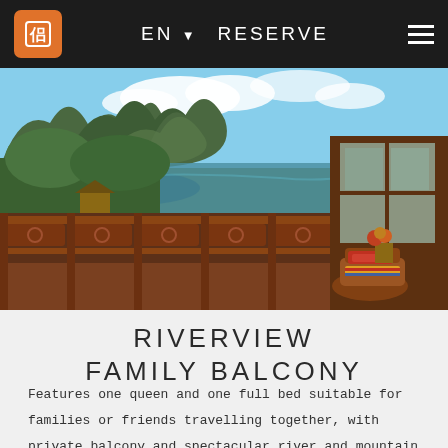EN RESERVE
[Figure (photo): A wooden balcony with rattan chair and flower arrangement overlooking a river with dramatic karst mountain peaks in the background, surrounded by lush green foliage. The balcony features ornate wooden railings with carved geometric patterns.]
RIVERVIEW FAMILY BALCONY
Features one queen and one full bed suitable for families or friends travelling together, with private balcony and spectacular river and mountain views.